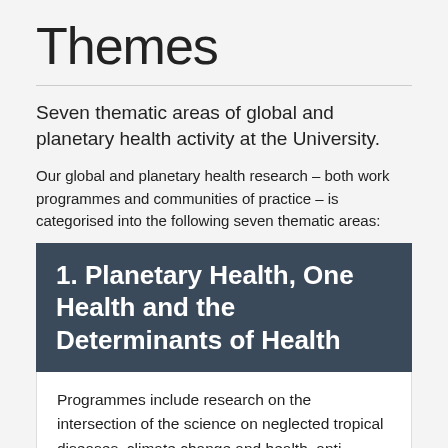Themes
Seven thematic areas of global and planetary health activity at the University.
Our global and planetary health research – both work programmes and communities of practice – is categorised into the following seven thematic areas:
1. Planetary Health, One Health and the Determinants of Health
Programmes include research on the intersection of the science on neglected tropical diseases, climate change and health, anti-microbial resistance and the impact of the emerging environmental crises on health. Programmes cover the interplay between health and the determinants of health in our living and physical world –including ecosystems and our human socio, political and economic systems.